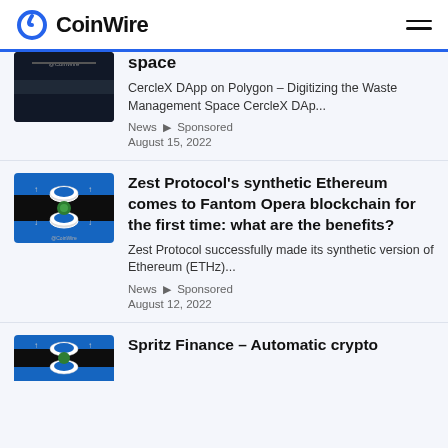CoinWire
space
CercleX DApp on Polygon – Digitizing the Waste Management Space CercleX DAp...
News ▶ Sponsored
August 15, 2022
Zest Protocol's synthetic Ethereum comes to Fantom Opera blockchain for the first time: what are the benefits?
Zest Protocol successfully made its synthetic version of Ethereum (ETHz)...
News ▶ Sponsored
August 12, 2022
Spritz Finance – Automatic crypto